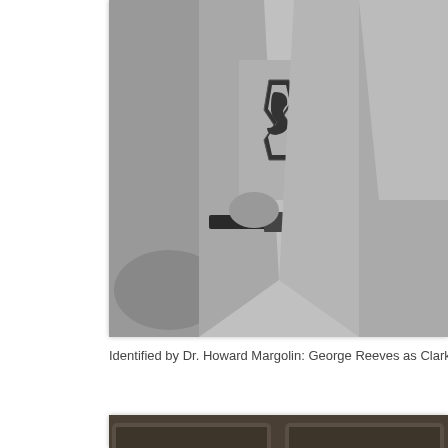[Figure (photo): Black and white photo of George Reeves as Clark Kent opening his shirt to reveal the Superman costume underneath, in a living room setting.]
Identified by Dr. Howard Margolin: George Reeves as Clark Ken in  The Adventures o
[Figure (photo): Black and white photo of an interior scene showing a tufted sofa/couch against wood-paneled walls, with a figure reclining.]